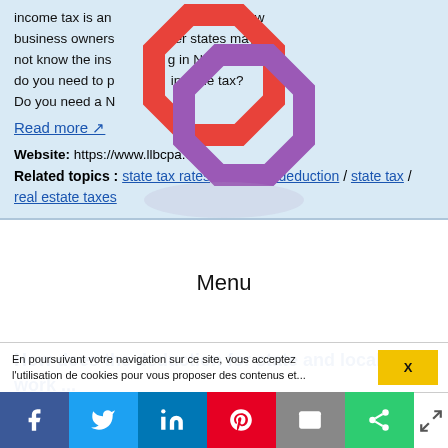income tax is an ... brand new business owners ... er states may not know the ins ... g in Nevada. So, do you need to p... income tax? Do you need a N...
[Figure (logo): Interlinked red and purple octagon ring logo]
Menu
Read more ↗
Website: https://www.llbcpa.com
Related topics : state tax rates / state tax deduction / state tax / real estate taxes
How does the deduction for state and local taxes work ...
State and local income and real estate taxes make up the bulk of total state and local taxes deducted (about 60 percent and 35 percent, respectively), while sales taxes and personal property taxes account for the remainder. The state and local tax (SALT) deduction is one of the largest federal tax
En poursuivant votre navigation sur ce site, vous acceptez l'utilisation de cookies pour vous proposer des contenus et...
X